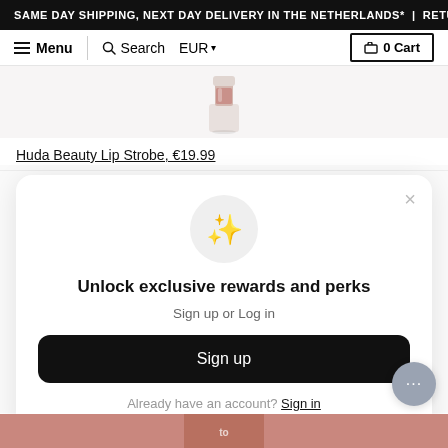SAME DAY SHIPPING, NEXT DAY DELIVERY IN THE NETHERLANDS* | RETURN
Menu | Search | EUR | 0 Cart
[Figure (photo): Partial view of a Huda Beauty Lip Strobe product bottle with pinkish-nude tone]
Huda Beauty Lip Strobe, €19.99
[Figure (infographic): Modal popup with sparkle emoji icon, heading 'Unlock exclusive rewards and perks', subtext 'Sign up or Log in', Sign up button, and 'Already have an account? Sign in' link]
[Figure (photo): Bottom edge of a beauty product packaging peeking from bottom of page]